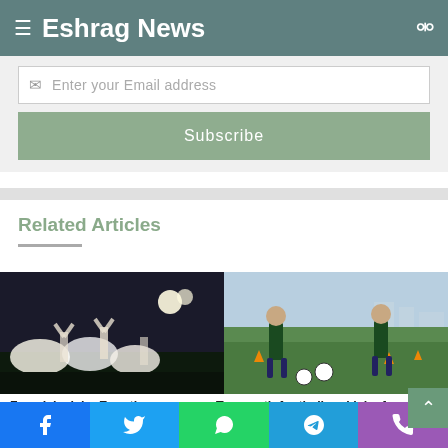Eshrag News
Enter your Email address
Subscribe
Related Articles
[Figure (photo): Zamalek football players celebrating on the pitch at night]
[Figure (photo): Youth footballers in green jerseys playing on grass field]
Zamalek claim Egyptian
Top youth footballers kick of